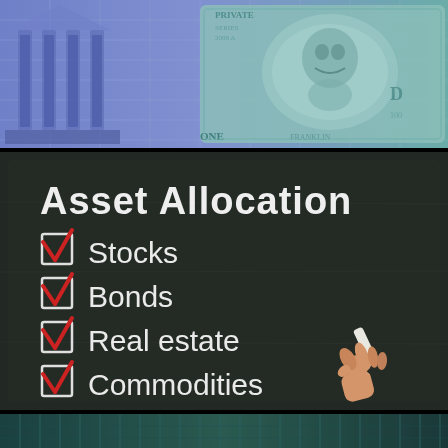[Figure (photo): A composite finance image showing a blue-tinted classical building with columns on the left and a large US $100 bill (Benjamin Franklin portrait) on the right, overlaid with financial chart grid lines.]
[Figure (illustration): Chalkboard with white chalk text reading 'Asset Allocation' as a title, and a checklist of four items each with a red checkmark in a checkbox: Stocks, Bonds, Real estate, Commodities. A hand holding white chalk is visible at the bottom right.]
[Figure (photo): Partial view of a dark teal/green financial background image, partially cropped at the bottom of the page.]